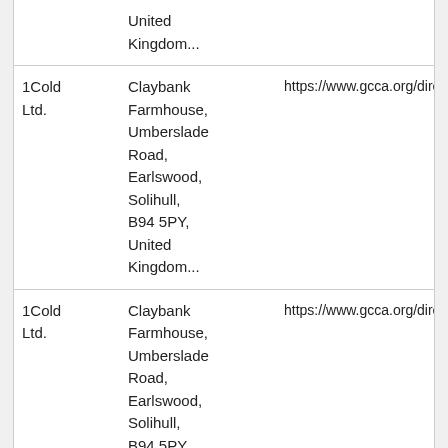|  | United Kingdom... |  |
| 1Cold Ltd. | Claybank Farmhouse, Umberslade Road, Earlswood, Solihull, B94 5PY, United Kingdom... | https://www.gcca.org/directory/detail#/1Co |
| 1Cold Ltd. | Claybank Farmhouse, Umberslade Road, Earlswood, Solihull, B94 5PY, United Kingdom... | https://www.gcca.org/directory/detail#/1Co |